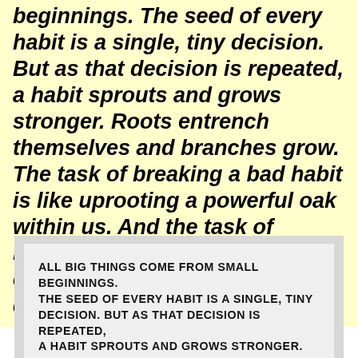beginnings. The seed of every habit is a single, tiny decision. But as that decision is repeated, a habit sprouts and grows stronger. Roots entrench themselves and branches grow. The task of breaking a bad habit is like uprooting a powerful oak within us. And the task of building a good habit is like cultivating a delicate flower one day at a time." - James Clear
[Figure (illustration): A printed quote card on a light gray background with bold uppercase text reading: ALL BIG THINGS COME FROM SMALL BEGINNINGS. THE SEED OF EVERY HABIT IS A SINGLE, TINY DECISION. BUT AS THAT DECISION IS REPEATED, A HABIT SPROUTS AND GROWS STRONGER. ROOTS ENTRENCH THEMSELVES AND BRANCHES GROW. THE TASK OF BREAKING A BAD HABIT IS LIKE (continues below the visible crop)]